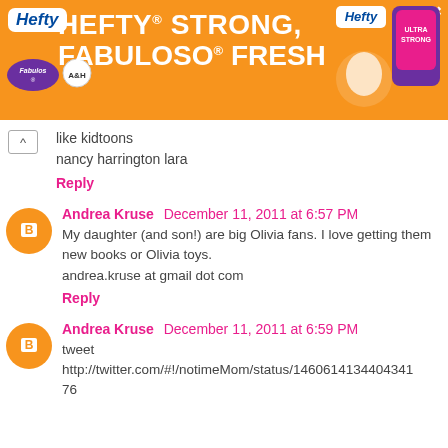[Figure (screenshot): Hefty brand advertisement banner with orange background. Text reads 'HEFTY STRONG, FABULOSO FRESH' with Hefty and Fabuloso logos and product image on right.]
like kidtoons
nancy harrington lara
Reply
Andrea Kruse  December 11, 2011 at 6:57 PM
My daughter (and son!) are big Olivia fans. I love getting them new books or Olivia toys.
andrea.kruse at gmail dot com
Reply
Andrea Kruse  December 11, 2011 at 6:59 PM
tweet
http://twitter.com/#!/notimeMom/status/14606141344043476